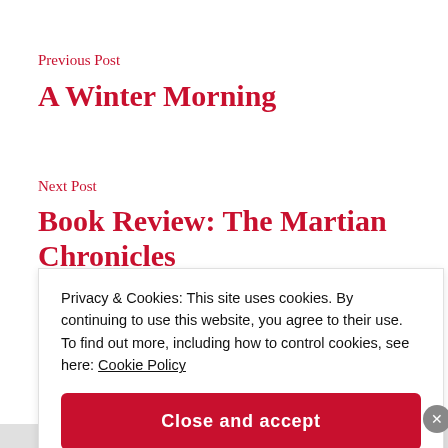Previous Post
A Winter Morning
Next Post
Book Review: The Martian Chronicles by Ray Bradbury
Privacy & Cookies: This site uses cookies. By continuing to use this website, you agree to their use. To find out more, including how to control cookies, see here: Cookie Policy
Close and accept